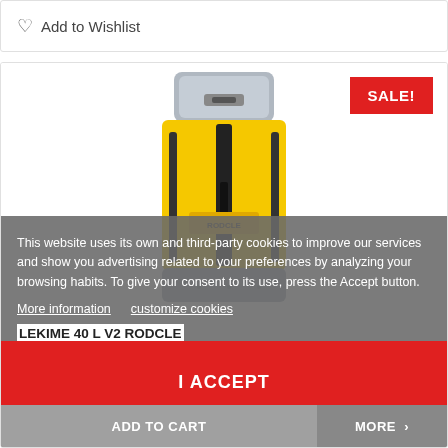Add to Wishlist
[Figure (photo): Yellow and grey waterproof dry bag/backpack (LEKIME 40 L V2 RODCLE) with black straps and branding, shown upright. Red SALE! badge in top right corner.]
This website uses its own and third-party cookies to improve our services and show you advertising related to your preferences by analyzing your browsing habits. To give your consent to its use, press the Accept button.
More information   customize cookies
LEKIME 40 L V2 RODCLE
I ACCEPT
ADD TO CART
MORE >